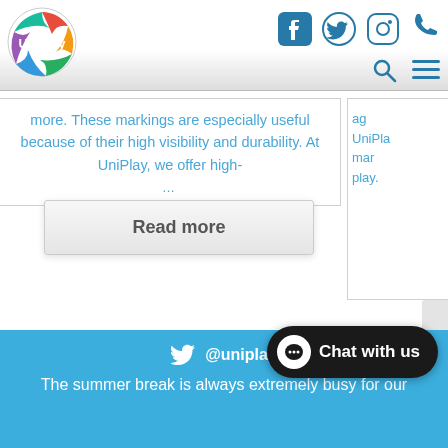UniPlay header with logo and social icons (Facebook, Twitter, Instagram, Phone)
more. These markings are especially useful because of their high visibility and durability. At UniPlay, we offer high-
Read more
@uniplay
The summer break is always extremely busy for our